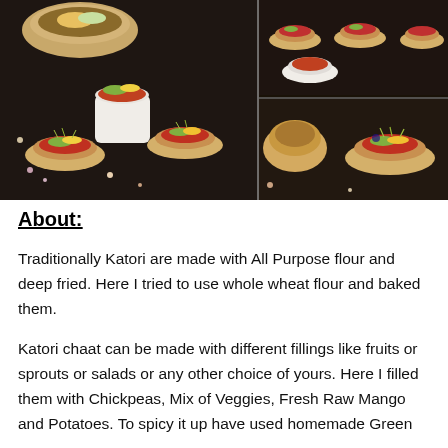[Figure (photo): Collage of food photos showing Katori chaat — small edible bowls filled with chickpeas, vegetables, and toppings, arranged on a dark slate surface. Multiple angles and arrangements visible.]
About:
Traditionally Katori are made with All Purpose flour and deep fried. Here I tried to use whole wheat flour and baked them.
Katori chaat can be made with different fillings like fruits or sprouts or salads or any other choice of yours. Here I filled them with Chickpeas, Mix of Veggies, Fresh Raw Mango and Potatoes. To spicy it up have used homemade Green